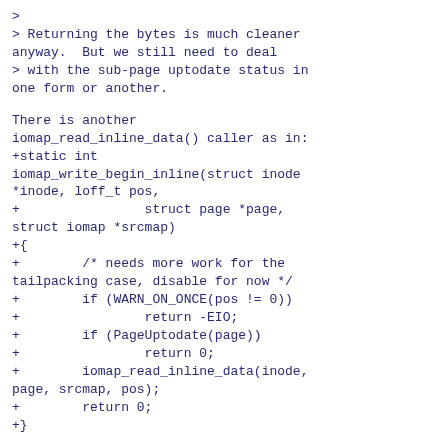>
> Returning the bytes is much cleaner
anyway.  But we still need to deal
> with the sub-page uptodate status in
one form or another.
There is another
iomap_read_inline_data() caller as in:
+static int
iomap_write_begin_inline(struct inode
*inode, loff_t pos,
+                struct page *page,
struct iomap *srcmap)
+{
+        /* needs more work for the
tailpacking case, disable for now */
+        if (WARN_ON_ONCE(pos != 0))
+                return -EIO;
+        if (PageUptodate(page))
+                return 0;
+        iomap_read_inline_data(inode,
page, srcmap, pos);
+        return 0;
+}
I'd like to avoid it as
(void)iomap_read_inline_data(...).
That's why it
left as void return type.